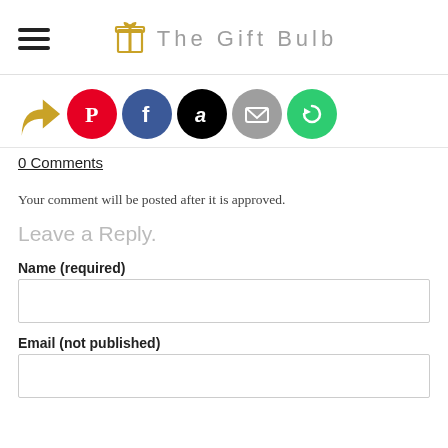The Gift Bulb
[Figure (other): Social share icons row: arrow/share icon (gold), Pinterest (red circle with P), Facebook (blue circle with f), Amazon (black circle with a), Email (gray circle with envelope), CircleIt (green circle with circular arrow)]
0 Comments
Your comment will be posted after it is approved.
Leave a Reply.
Name (required)
Email (not published)